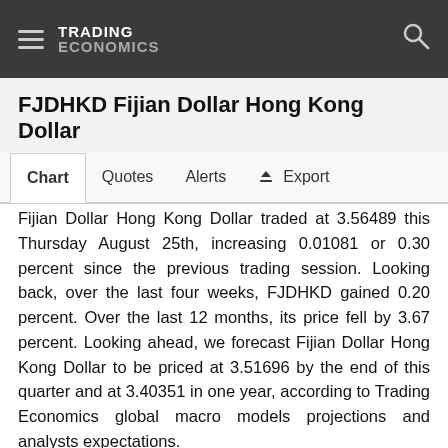TRADING ECONOMICS
FJDHKD Fijian Dollar Hong Kong Dollar
Chart  Quotes  Alerts  Export
Fijian Dollar Hong Kong Dollar traded at 3.56489 this Thursday August 25th, increasing 0.01081 or 0.30 percent since the previous trading session. Looking back, over the last four weeks, FJDHKD gained 0.20 percent. Over the last 12 months, its price fell by 3.67 percent. Looking ahead, we forecast Fijian Dollar Hong Kong Dollar to be priced at 3.51696 by the end of this quarter and at 3.40351 in one year, according to Trading Economics global macro models projections and analysts expectations.